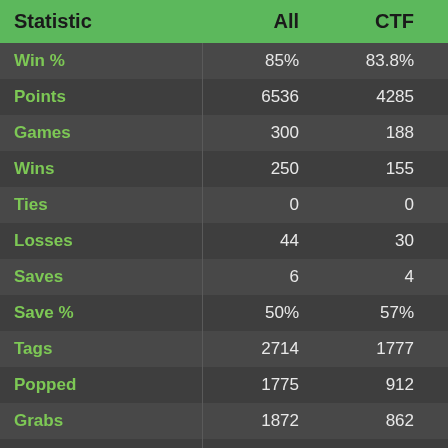| Statistic | All | CTF | Neutral |
| --- | --- | --- | --- |
| Win % | 85% | 83.8% | 87.2% |
| Points | 6536 | 4285 | 2251 |
| Games | 300 | 188 | 112 |
| Wins | 250 | 155 | 95 |
| Ties | 0 | 0 | 0 |
| Losses | 44 | 30 | 14 |
| Saves | 6 | 4 | 2 |
| Save % | 50% | 57% | 40% |
| Tags | 2714 | 1777 | 937 |
| Popped | 1775 | 912 | 863 |
| Grabs | 1872 | 862 | 1010 |
| Captures | 372 | 175 | 197 |
| Hold | 04:55:03 | 03:04:03 | 01:51:00 |